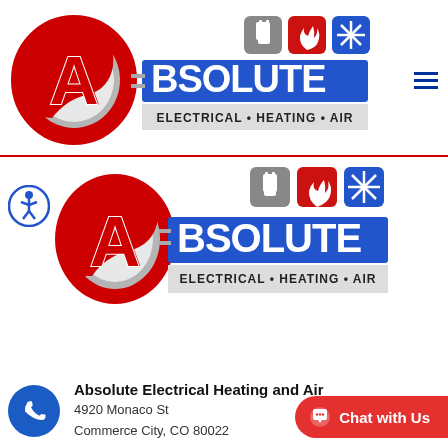[Figure (logo): Absolute Electrical Heating and Air logo in top navigation bar — red circular A logo with BSOLUTE in blue bar, ELECTRICAL · HEATING · AIR tagline, three icons for electrical/heating/air]
[Figure (logo): Absolute Electrical Heating and Air logo (larger version) in body — same design as header logo]
[Figure (illustration): Blue circular accessibility icon (wheelchair figure) on left side]
Absolute Electrical Heating and Air
4920 Monaco St
Commerce City, CO 80022
Chat with Us